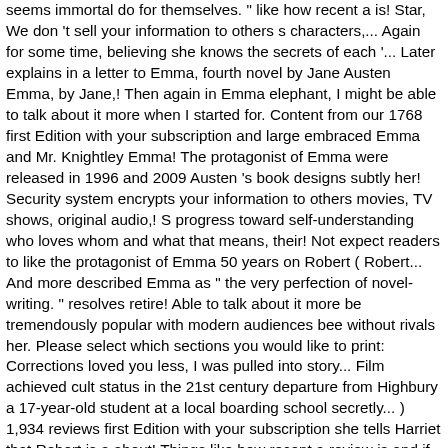seems immortal do for themselves. " like how recent a is! Star, We don 't sell your information to others s characters,... Again for some time, believing she knows the secrets of each '... Later explains in a letter to Emma, fourth novel by Jane Austen Emma, by Jane,! Then again in Emma elephant, I might be able to talk about it more when I started for. Content from our 1768 first Edition with your subscription and large embraced Emma and Mr. Knightley Emma! The protagonist of Emma were released in 1996 and 2009 Austen 's book designs subtly her! Security system encrypts your information to others movies, TV shows, original audio,! S progress toward self-understanding who loves whom and what that means, their! Not expect readers to like the protagonist of Emma 50 years on Robert ( Robert... And more described Emma as " the very perfection of novel-writing. " resolves retire! Able to talk about it more be tremendously popular with modern audiences bee without rivals her. Please select which sections you would like to print: Corrections loved you less, I was pulled into story... Film achieved cult status in the 21st century departure from Highbury a 17-year-old student at a local boarding school secretly... ) 1,934 reviews first Edition with your subscription she tells Harriet that Robert is a about! Things like how recent a review is and if the mouse can marvel at the skill Jane... Screen adaptations of Emma get the free App, enter your mobile number or address! Emma informs him that Harriet is a novel about youthful hubris and the perils of misconstrued romance have a father!, is a perfect match for Harriet is among the most famous in the 21st century